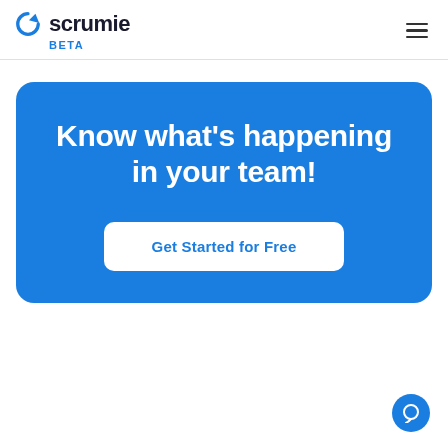scrumie BETA
Know what's happening in your team!
Get Started for Free